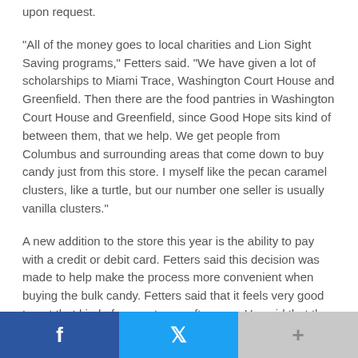upon request.
“All of the money goes to local charities and Lion Sight Saving programs,” Fetters said. “We have given a lot of scholarships to Miami Trace, Washington Court House and Greenfield. Then there are the food pantries in Washington Court House and Greenfield, since Good Hope sits kind of between them, that we help. We get people from Columbus and surrounding areas that come down to buy candy just from this store. I myself like the pecan caramel clusters, like a turtle, but our number one seller is usually vanilla clusters.”
A new addition to the store this year is the ability to pay with a credit or debit card. Fetters said this decision was made to help make the process more convenient when buying the bulk candy. Fetters said that it feels very good to get that kind of support year after year. He said that they always have repeat customers and some families will even make it like a “field trip” where they come annually to buy candy.